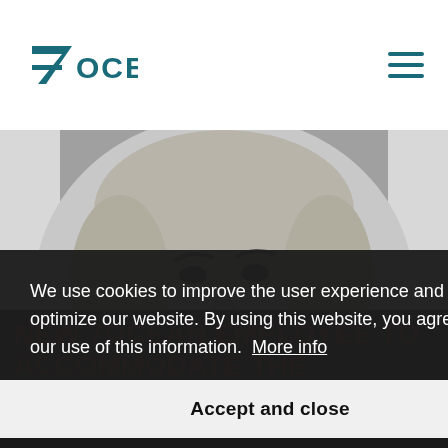7OCEAN
[Figure (photo): Black and white portrait photo of a smiling blonde woman]
NEW 7OCEAN EMPLOYEE TO ACCOMMODATE THE MARKET
We use cookies to improve the user experience and optimize our website. By using this website, you agree to our use of this information. More info
Accept and close
have main focus as Key Account Consultant.